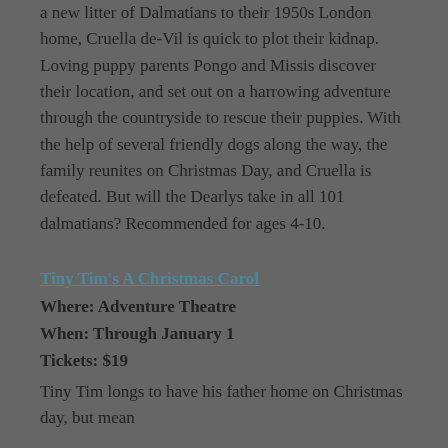a new litter of Dalmatians to their 1950s London home, Cruella de-Vil is quick to plot their kidnap. Loving puppy parents Pongo and Missis discover their location, and set out on a harrowing adventure through the countryside to rescue their puppies. With the help of several friendly dogs along the way, the family reunites on Christmas Day, and Cruella is defeated. But will the Dearlys take in all 101 dalmatians? Recommended for ages 4-10.
Tiny Tim's A Christmas Carol
Where: Adventure Theatre
When: Through January 1
Tickets: $19
Tiny Tim longs to have his father home on Christmas day, but mean